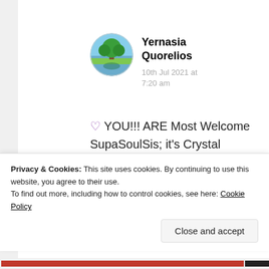[Figure (photo): Circular avatar image showing a tree in a landscape with blue sky and water reflection]
Yernasia Quorelios
10th Jul 2021 at 7:20 am
💜 YOU!!! ARE Most Welcome SupaSoulSis; it's Crystal Clear Clarity that Goddess, Mother
Privacy & Cookies: This site uses cookies. By continuing to use this website, you agree to their use.
To find out more, including how to control cookies, see here: Cookie Policy
Close and accept